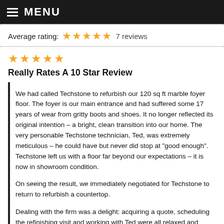MENU
Average rating: ★★★★★ 7 reviews
[Figure (other): Five gold stars rating for the review]
Really Rates A 10 Star Review
We had called Techstone to refurbish our 120 sq ft marble foyer floor. The foyer is our main entrance and had suffered some 17 years of wear from gritty boots and shoes. It no longer reflected its original intention – a bright, clean transition into our home. The very personable Techstone technician, Ted, was extremely meticulous – he could have but never did stop at "good enough". Techstone left us with a floor far beyond our expectations – it is now in showroom condition.
On seeing the result, we immediately negotiated for Techstone to return to refurbish a countertop.
Dealing with the firm was a delight: acquiring a quote, scheduling the refinishing visit and working with Ted were all relaxed and